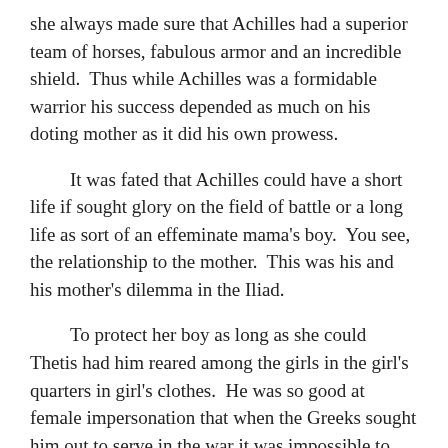she always made sure that Achilles had a superior team of horses, fabulous armor and an incredible shield.  Thus while Achilles was a formidable warrior his success depended as much on his doting mother as it did his own prowess.
It was fated that Achilles could have a short life if sought glory on the field of battle or a long life as sort of an effeminate mama's boy.  You see, the relationship to the mother.  This was his and his mother's dilemma in the Iliad.
To protect her boy as long as she could Thetis had him reared among the girls in the girl's quarters in girl's clothes.  He was so good at female impersonation that when the Greeks sought him out to serve in the war it was impossible to identify this giant amongst men among the